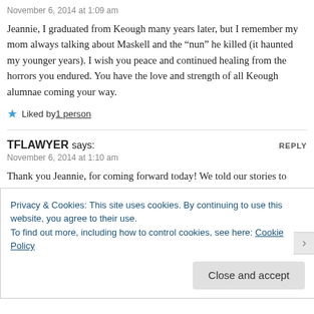November 6, 2014 at 1:09 am
Jeannie, I graduated from Keough many years later, but I remember my mom always talking about Maskell and the “nun” he killed (it haunted my younger years). I wish you peace and continued healing from the horrors you endured. You have the love and strength of all Keough alumnae coming your way.
Liked by 1 person
TFLAWYER says:
November 6, 2014 at 1:10 am
Thank you Jeannie, for coming forward today! We told our stories to those church lawyers in 1994. They mocked us and said awful things to us, about us…. We didn’t win our lawsuit in 1994, but look at the support we have today. Stay strong. The truth is out. The church lost in the end.
Privacy & Cookies: This site uses cookies. By continuing to use this website, you agree to their use. To find out more, including how to control cookies, see here: Cookie Policy
Close and accept